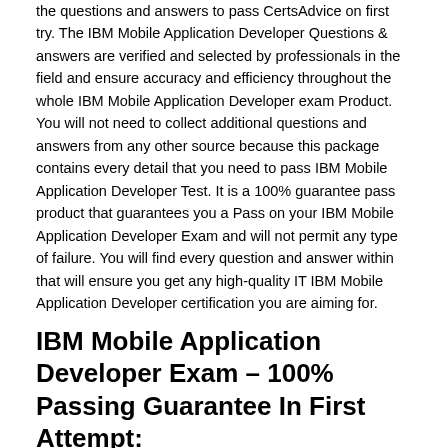the questions and answers to pass CertsAdvice on first try. The IBM Mobile Application Developer Questions & answers are verified and selected by professionals in the field and ensure accuracy and efficiency throughout the whole IBM Mobile Application Developer exam Product. You will not need to collect additional questions and answers from any other source because this package contains every detail that you need to pass IBM Mobile Application Developer Test. It is a 100% guarantee pass product that guarantees you a Pass on your IBM Mobile Application Developer Exam and will not permit any type of failure. You will find every question and answer within that will ensure you get any high-quality IT IBM Mobile Application Developer certification you are aiming for.
IBM Mobile Application Developer Exam – 100% Passing Guarantee In First Attempt:
Yes, you read it right, CertsAdvice give you 100% passing guarantee in first attempt. Their IBM Mobile Application Developer exam dumps questions have the out of the traditional box questions which makes them a unique platform for the preparation of IBM Mobile Application Developer exam.